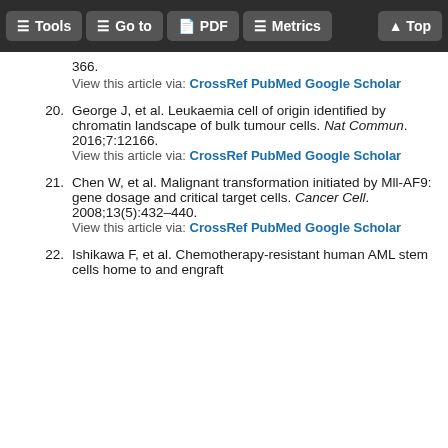Tools | Go to | PDF | Metrics | Top
366.
View this article via: CrossRef PubMed Google Scholar
20. George J, et al. Leukaemia cell of origin identified by chromatin landscape of bulk tumour cells. Nat Commun. 2016;7:12166.
View this article via: CrossRef PubMed Google Scholar
21. Chen W, et al. Malignant transformation initiated by Mll-AF9: gene dosage and critical target cells. Cancer Cell. 2008;13(5):432–440.
View this article via: CrossRef PubMed Google Scholar
22. Ishikawa F, et al. Chemotherapy-resistant human AML stem cells home to and engraft